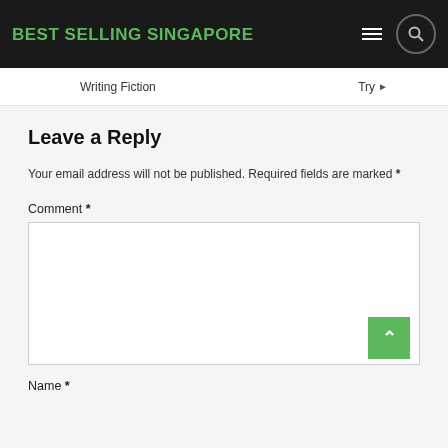BEST SELLING SINGAPORE
Writing Fiction
Try ▶
Leave a Reply
Your email address will not be published. Required fields are marked *
Comment *
Name *